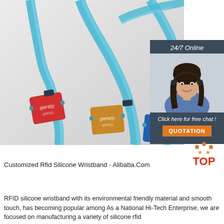[Figure (photo): Three RFID wristbands with blue fabric straps and colored tag panels (red, orange/gold, blue) on a light gray background]
[Figure (infographic): 24/7 Online chat widget with female customer service agent wearing headset, 'Click here for free chat!' text, and orange QUOTATION button]
[Figure (logo): TOP badge logo with orange dots arc and red/orange TOP text]
Customized Rfid Silicone Wristband - Alibaba.Com
RFID silicone wristband with its environmental friendly material and smooth touch, has becoming popular among As a National Hi-Tech Enterprise, we are focused on manufacturing a variety of silicone rfid